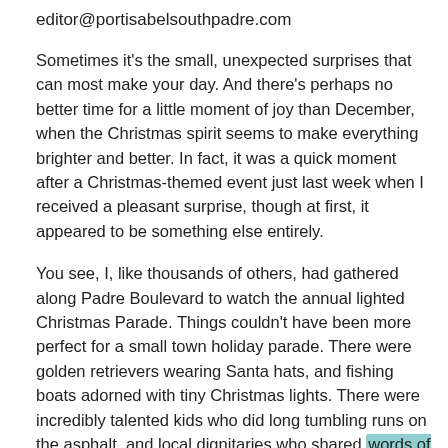editor@portisabelsouthpadre.com
Sometimes it's the small, unexpected surprises that can most make your day. And there's perhaps no better time for a little moment of joy than December, when the Christmas spirit seems to make everything brighter and better. In fact, it was a quick moment after a Christmas-themed event just last week when I received a pleasant surprise, though at first, it appeared to be something else entirely.
You see, I, like thousands of others, had gathered along Padre Boulevard to watch the annual lighted Christmas Parade. Things couldn't have been more perfect for a small town holiday parade. There were golden retrievers wearing Santa hats, and fishing boats adorned with tiny Christmas lights. There were incredibly talented kids who did long tumbling runs on the asphalt, and local dignitaries who shared words of cheer and well wishes. At the end of it all was Santa Claus, taking a brief pre-Christmas vacation on South Padre Island,